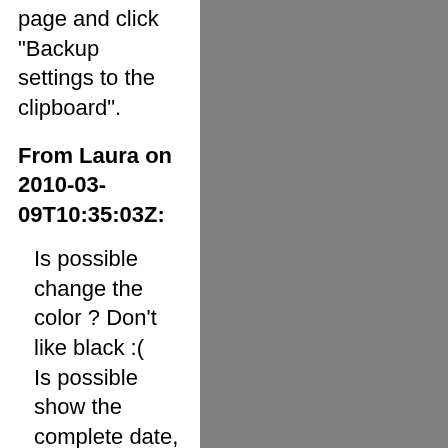page and click "Backup settings to the clipboard".
From Laura on 2010-03-09T10:35:03Z:
Is possible change the color ? Don't like black :( Is possible show the complete date, don't like the abbreviation I don't find the option for save settings, where is?
Many thank's :)